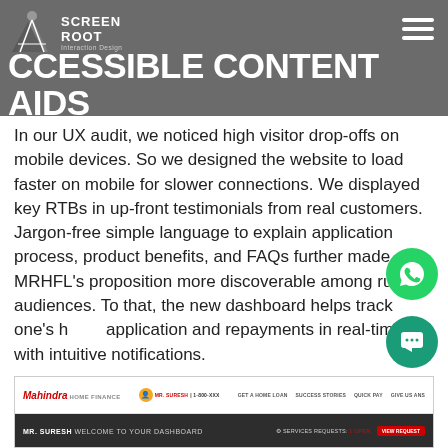ACCESSIBLE CONTENT AIDS HIGHER DISCOVERABILITY
In our UX audit, we noticed high visitor drop-offs on mobile devices. So we designed the website to load faster on mobile for slower connections. We displayed key RTBs in up-front testimonials from real customers. Jargon-free simple language to explain application process, product benefits, and FAQs further made MRHFL's proposition more discoverable among rural audiences. To that, the new dashboard helps track one's home application and repayments in real-time with intuitive notifications.
[Figure (screenshot): Screenshot of Mahindra Home Finance website showing navigation bar and dashboard welcome screen with 'MR. SURESH WELCOME TO YOUR DASHBOARD' text]